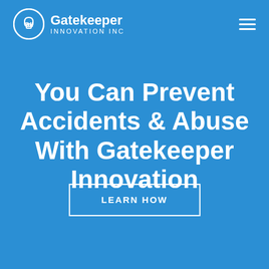[Figure (logo): Gatekeeper Innovation Inc logo — circular lock icon with GII text, white on blue background, with company name 'Gatekeeper Innovation Inc' in white text to the right]
You Can Prevent Accidents & Abuse With Gatekeeper Innovation
LEARN HOW